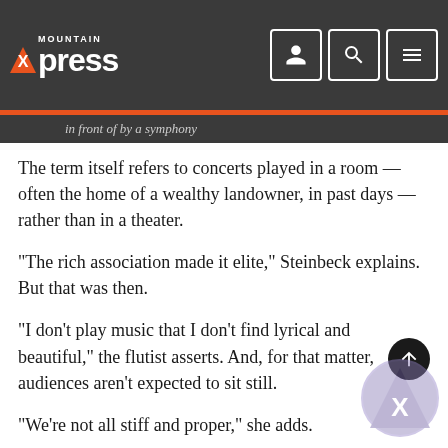Mountain Xpress
The term itself refers to concerts played in a room — often the home of a wealthy landowner, in past days — rather than in a theater.
“The rich association made it elite,” Steinbeck explains. But that was then.
“I don’t play music that I don’t find lyrical and beautiful,” the flutist asserts. And, for that matter, audiences aren’t expected to sit still.
“We’re not all stiff and proper,” she adds.
The group’s repertoire includes “Craftsbury Trio” by contemporary lesbian composer Gwyneth Walker, plus “Trio, Opus 11,” from Fanny Mendelssohn-Hensel, the sister of Felix Mendelssohn.
Among Keowee’s upcoming concerts is one scheduled at Pretty Place — “an open-air chapel with a curving vista” at